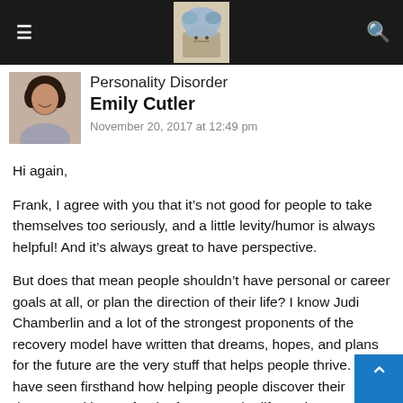Personality Disorder — Emily Cutler blog comment
[Figure (photo): Brain illustration logo in navigation bar]
[Figure (photo): Author avatar photo of Emily Cutler, a woman with dark curly hair]
Personality Disorder
Emily Cutler
November 20, 2017 at 12:49 pm
Hi again,
Frank, I agree with you that it’s not good for people to take themselves too seriously, and a little levity/humor is always helpful! And it’s always great to have perspective.
But does that mean people shouldn’t have personal or career goals at all, or plan the direction of their life? I know Judi Chamberlin and a lot of the strongest proponents of the recovery model have written that dreams, hopes, and plans for the future are the very stuff that helps people thrive. I have seen firsthand how helping people discover their dreams and hopes for the future can be life-saving.